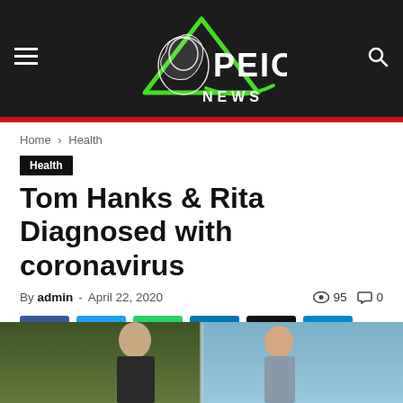[Figure (logo): PEIO NEWS logo with lion illustration and green triangle on dark background header]
Home › Health
Health
Tom Hanks & Rita Diagnosed with coronavirus
By admin - April 22, 2020  👁 95  💬 0
[Figure (infographic): Social media share buttons: Facebook, Twitter, WhatsApp, LinkedIn, Email, Telegram]
[Figure (photo): Photo of Tom Hanks and Rita Wilson]